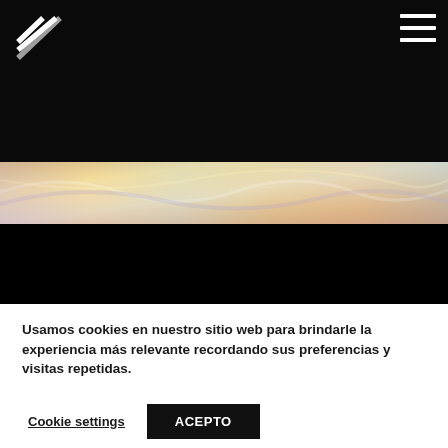[Figure (screenshot): Website screenshot showing a dark navigation bar with a white striped logo on the left and a hamburger menu icon (three white horizontal lines) on the right, over a dark background]
[Figure (photo): A horizontal iridescent strip showing the interior of a pearl shell or abalone, with swirling golden, cream, pink and lavender tones]
Usamos cookies en nuestro sitio web para brindarle la experiencia más relevante recordando sus preferencias y visitas repetidas.
Cookie settings
ACEPTO